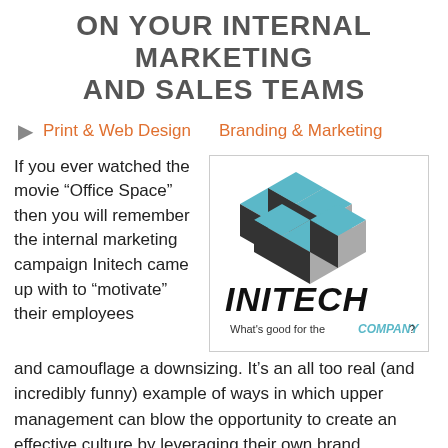ON YOUR INTERNAL MARKETING AND SALES TEAMS
Print & Web Design    Branding & Marketing
If you ever watched the movie “Office Space” then you will remember the internal marketing campaign Initech came up with to “motivate” their employees
[Figure (logo): Initech logo with 3D cube shapes in teal, grey and black above the word INITECH in bold black italic letters, with tagline 'What's good for the COMPANY?' below]
and camouflage a downsizing. It’s an all too real (and incredibly funny) example of ways in which upper management can blow the opportunity to create an effective culture by leveraging their own brand.